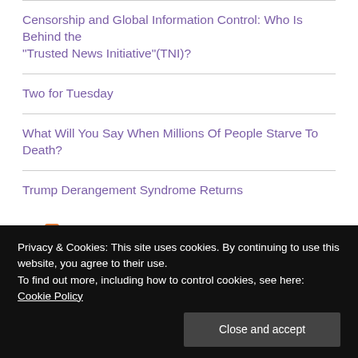Censorship and Global Information Control: Who Is Behind the "Trusted News Initiative"(TNI)?
Two for Tuesday
What Will You Say When Millions Of People Starve To Death?
Trump Derangement Syndrome Returns
- [RSS] LATEST FROM ELECTRONIC INTIFADA -
Privacy & Cookies: This site uses cookies. By continuing to use this website, you agree to their use.
To find out more, including how to control cookies, see here: Cookie Policy
Close and accept
Searching beneath the rubble of Rafah September 1, 2022